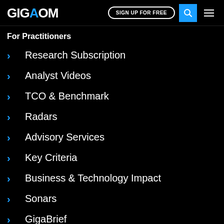GIGAOM | SIGN UP FOR FREE
For Practitioners
Research Subscription
Analyst Videos
TCO & Benchmark
Radars
Advisory Services
Key Criteria
Business & Technology Impact
Sonars
GigaBrief